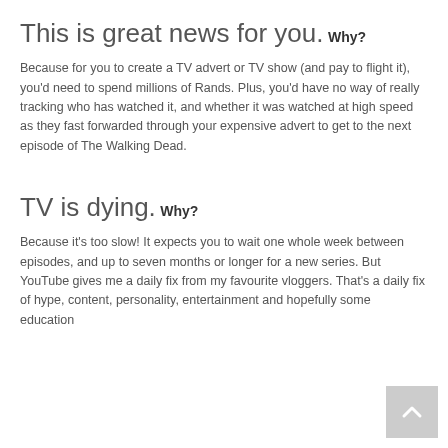This is great news for you.
Why?
Because for you to create a TV advert or TV show (and pay to flight it), you'd need to spend millions of Rands. Plus, you'd have no way of really tracking who has watched it, and whether it was watched at high speed as they fast forwarded through your expensive advert to get to the next episode of The Walking Dead.
TV is dying.
Why?
Because it's too slow! It expects you to wait one whole week between episodes, and up to seven months or longer for a new series. But YouTube gives me a daily fix from my favourite vloggers. That's a daily fix of hype, content, personality, entertainment and hopefully some education